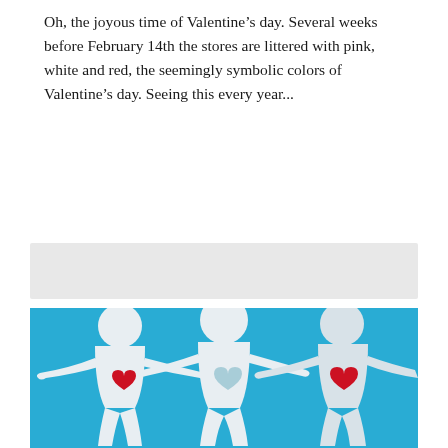Oh, the joyous time of Valentine's day. Several weeks before February 14th the stores are littered with pink, white and red, the seemingly symbolic colors of Valentine's day. Seeing this every year...
[Figure (photo): Three white paper cutout human figures holding hands against a blue background, each with a heart on their chest — left figure has a red heart, center figure has a light blue heart, right figure has a red heart.]